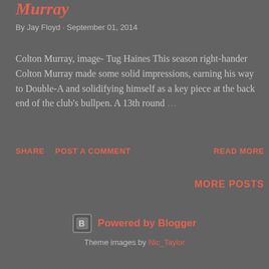Murray
By Jay Floyd · September 01, 2014
Colton Murray, image- Tug Haines This season right-hander Colton Murray made some solid impressions, earning his way to Double-A and solidifying himself as a key piece at the back end of the club's bullpen. A 13th round …
SHARE   POST A COMMENT   READ MORE
MORE POSTS
Powered by Blogger
Theme images by Nic_Taylor